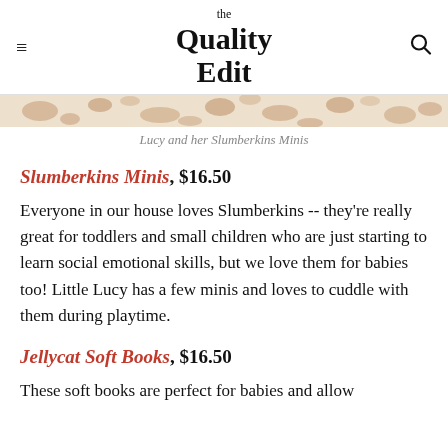the Quality Edit
[Figure (photo): Cropped top of an image showing Lucy and her Slumberkins Minis — a decorative pattern in warm beige and brown tones]
Lucy and her Slumberkins Minis
Slumberkins Minis, $16.50
Everyone in our house loves Slumberkins -- they're really great for toddlers and small children who are just starting to learn social emotional skills, but we love them for babies too! Little Lucy has a few minis and loves to cuddle with them during playtime.
Jellycat Soft Books, $16.50
These soft books are perfect for babies and allow